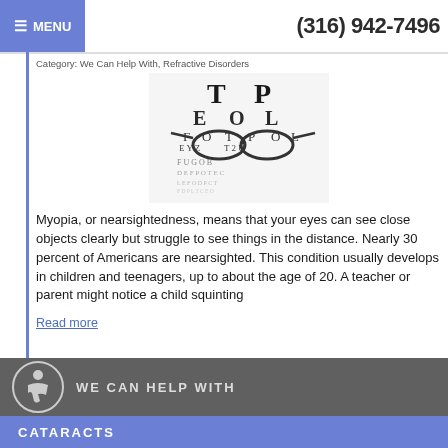☰ MENU  (316) 942-7496
Category: We Can Help With, Refractive Disorders
[Figure (photo): An eye chart showing rows of letters in decreasing size, with a pair of glasses overlaid on the chart.]
Myopia, or nearsightedness, means that your eyes can see close objects clearly but struggle to see things in the distance. Nearly 30 percent of Americans are nearsighted. This condition usually develops in children and teenagers, up to about the age of 20. A teacher or parent might notice a child squinting
Read more
WE CAN HELP WITH
CATARACTS